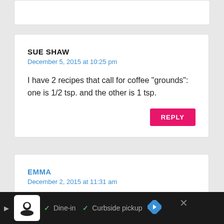SUE SHAW
December 5, 2015 at 10:25 pm
I have 2 recipes that call for coffee "grounds": one is 1/2 tsp. and the other is 1 tsp.
REPLY
EMMA
December 2, 2015 at 11:31 am
Hi Melissa! I love the idea of these. I just tried making them using vegan butter as a
[Figure (other): Advertisement bar at bottom: dark background with restaurant icon, 'Dine-in', 'Curbside pickup' text, navigation arrow icon, and close X button]